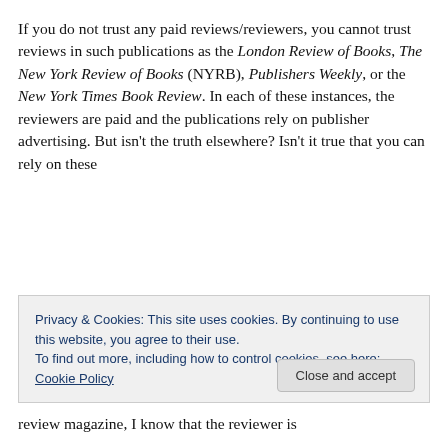If you do not trust any paid reviews/reviewers, you cannot trust reviews in such publications as the London Review of Books, The New York Review of Books (NYRB), Publishers Weekly, or the New York Times Book Review. In each of these instances, the reviewers are paid and the publications rely on publisher advertising. But isn't the truth elsewhere? Isn't it true that you can rely on these
Privacy & Cookies: This site uses cookies. By continuing to use this website, you agree to their use. To find out more, including how to control cookies, see here: Cookie Policy
review magazine, I know that the reviewer is